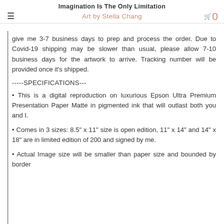Imagination Is The Only Limitation
Art by Stella Chang
☰  🛒 0
give me 3-7 business days to prep and process the order. Due to Covid-19 shipping may be slower than usual, please allow 7-10 business days for the artwork to arrive. Tracking number will be provided once it's shipped.
-----SPECIFICATIONS---
• This is a digital reproduction on luxurious Epson Ultra Premium Presentation Paper Matte in pigmented ink that will outlast both you and I.
• Comes in 3 sizes: 8.5" x 11" size is open edition, 11" x 14" and 14" x 18" are in limited edition of 200 and signed by me.
• Actual Image size will be smaller than paper size and bounded by border